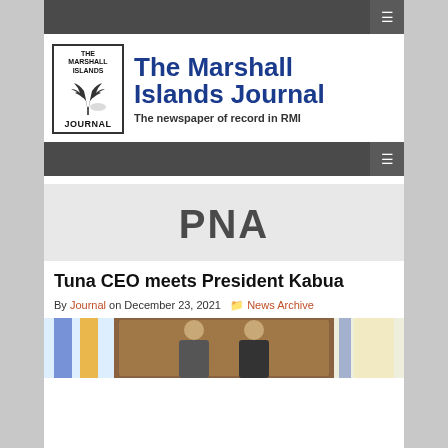Navigation bar top
[Figure (logo): The Marshall Islands Journal logo with palm tree illustration and text 'THE MARSHALL ISLANDS JOURNAL']
The Marshall Islands Journal
The newspaper of record in RMI
Navigation bar middle
PNA
Tuna CEO meets President Kabua
By Journal on December 23, 2021  News Archive
[Figure (photo): Two people posing in front of a carved wooden backdrop with flags on either side]